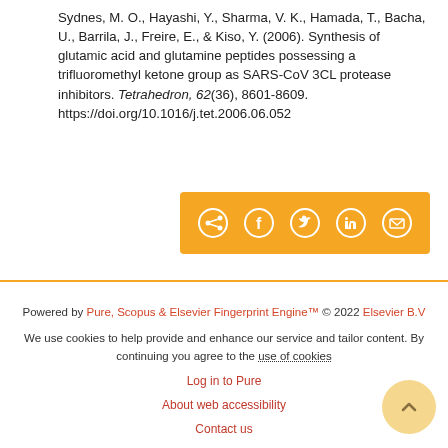Sydnes, M. O., Hayashi, Y., Sharma, V. K., Hamada, T., Bacha, U., Barrila, J., Freire, E., & Kiso, Y. (2006). Synthesis of glutamic acid and glutamine peptides possessing a trifluoromethyl ketone group as SARS-CoV 3CL protease inhibitors. Tetrahedron, 62(36), 8601-8609. https://doi.org/10.1016/j.tet.2006.06.052
[Figure (other): Social sharing button bar with orange background containing share, Facebook, Twitter, LinkedIn, and email icons]
Powered by Pure, Scopus & Elsevier Fingerprint Engine™ © 2022 Elsevier B.V
We use cookies to help provide and enhance our service and tailor content. By continuing you agree to the use of cookies
Log in to Pure
About web accessibility
Contact us